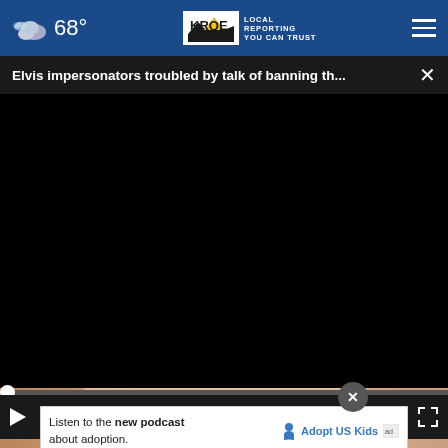68° KRQE LOCAL REPORTING YOU CAN TRUST
Elvis impersonators troubled by talk of banning th... ×
[Figure (screenshot): Black video player area with progress bar at bottom (dot at left), play button, mute button, timestamp 00:00, and fullscreen icon on dark control bar]
[Figure (photo): Partial thumbnail of a person with blonde hair visible below the video player]
Listen to the new podcast about adoption.
[Figure (logo): Adopt US Kids logo with figure icon and ad council badge]